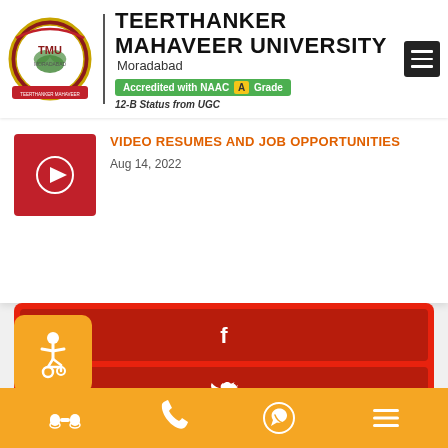[Figure (logo): Teerthanker Mahaveer University logo with TMU circular emblem and university name, NAAC A Grade badge, 12-B Status from UGC]
VIDEO RESUMES AND JOB OPPORTUNITIES
Aug 14, 2022
[Figure (screenshot): Social media share buttons - Facebook (f) and Twitter bird icons on red/dark-red background]
[Figure (illustration): Accessibility icon - person in wheelchair on orange background]
[Figure (infographic): Orange bottom navigation bar with binoculars, phone, WhatsApp and menu icons]